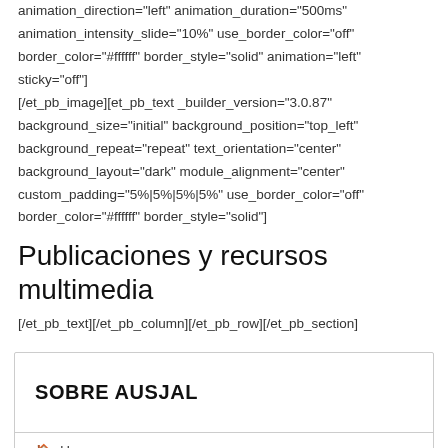animation_direction="left" animation_duration="500ms" animation_intensity_slide="10%" use_border_color="off" border_color="#ffffff" border_style="solid" animation="left" sticky="off"] [/et_pb_image][et_pb_text _builder_version="3.0.87" background_size="initial" background_position="top_left" background_repeat="repeat" text_orientation="center" background_layout="dark" module_alignment="center" custom_padding="5%|5%|5%|5%" use_border_color="off" border_color="#ffffff" border_style="solid"]
Publicaciones y recursos multimedia
[/et_pb_text][/et_pb_column][/et_pb_row][/et_pb_section]
SOBRE AUSJAL
Home